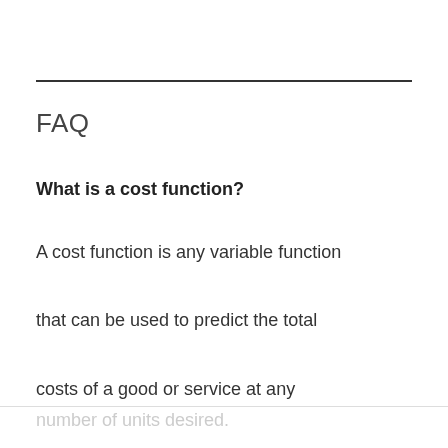FAQ
What is a cost function?
A cost function is any variable function that can be used to predict the total costs of a good or service at any number of units desired.